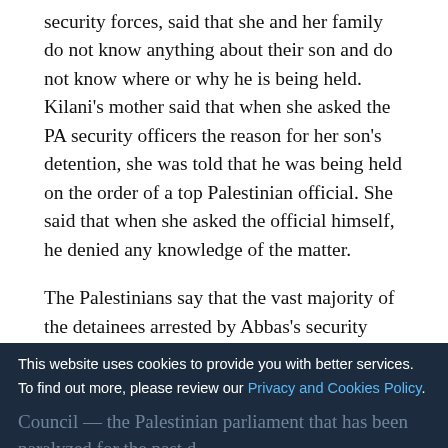security forces, said that she and her family do not know anything about their son and do not know where or why he is being held. Kilani's mother said that when she asked the PA security officers the reason for her son's detention, she was told that he was being held on the order of a top Palestinian official. She said that when she asked the official himself, he denied any knowledge of the matter.
The Palestinians say that the vast majority of the detainees arrested by Abbas's security forces are detained solely for their political affiliations. They say these "politically motivated" arrests are part of the PA's continued security crackdown on its political rivals in the West Bank, including Hamas and Palestinian Islamic Jihad.
This website uses cookies to provide you with better services. To find out more, please review our Privacy and Cookies Policy.
OK
Council — the Palestinian parliament that has been paralyzed for the past decade because of the power struggle between Hamas and Abbas's ruling Fatah faction